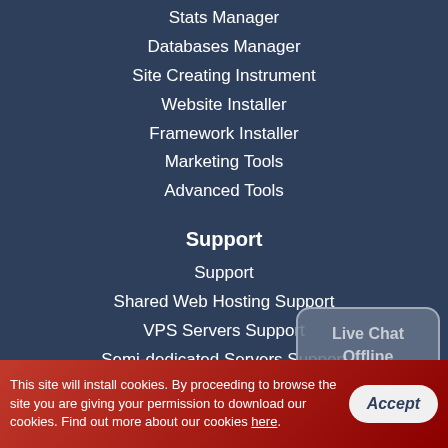Stats Manager
Databases Manager
Site Creating Instrument
Website Installer
Framework Installer
Marketing Tools
Advanced Tools
Support
Support
Shared Web Hosting Support
VPS Servers Support
Semi-dedicated Servers Support
Dedicated Servers Support
Dedicated Managed Services
VPS Managed Services
Glossary
[Figure (other): Live Chat Offline speech bubble widget]
This site will install cookies. By proceeding to browse the site you are giving your permission to download our cookies. Find out more about our cookies here.